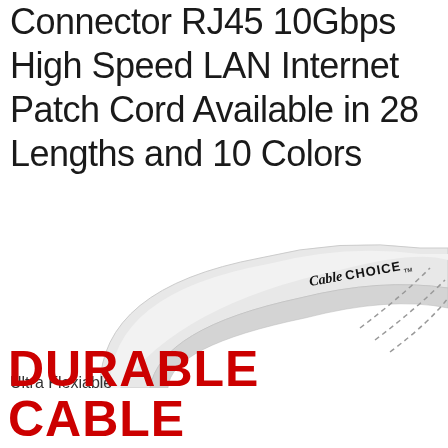Connector RJ45 10Gbps High Speed LAN Internet Patch Cord Available in 28 Lengths and 10 Colors
[Figure (photo): A coiled white ethernet cable with 'CableCHOICE™' branding printed on it, shown with dashed arc lines suggesting flexibility. The cable curves in a loop against a white background.]
Ultra Flexiable
DURABLE CABLE